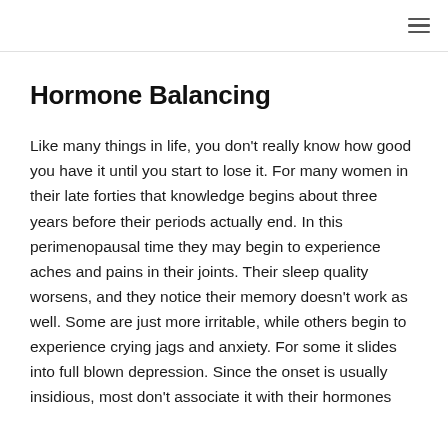Hormone Balancing
Like many things in life, you don’t really know how good you have it until you start to lose it. For many women in their late forties that knowledge begins about three years before their periods actually end. In this perimenopausal time they may begin to experience aches and pains in their joints. Their sleep quality worsens, and they notice their memory doesn’t work as well. Some are just more irritable, while others begin to experience crying jags and anxiety. For some it slides into full blown depression. Since the onset is usually insidious, most don’t associate it with their hormones